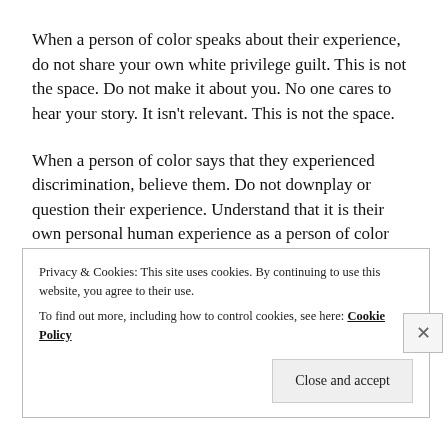When a person of color speaks about their experience, do not share your own white privilege guilt. This is not the space. Do not make it about you. No one cares to hear your story. It isn't relevant. This is not the space.
When a person of color says that they experienced discrimination, believe them. Do not downplay or question their experience. Understand that it is their own personal human experience as a person of color and they have every right to define it as such.
When a person of color calls you out for
Privacy & Cookies: This site uses cookies. By continuing to use this website, you agree to their use.
To find out more, including how to control cookies, see here: Cookie Policy